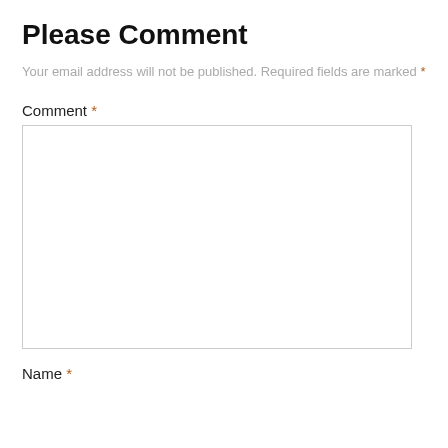Please Comment
Your email address will not be published. Required fields are marked *
Comment *
Name *